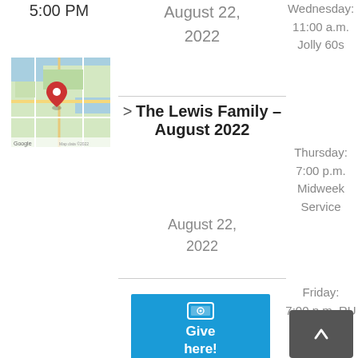5:00 PM
[Figure (map): Google Maps embed showing a location pin in Indiana Dunes National Park area near Chesterton, Indiana]
August 22, 2022
> The Lewis Family – August 2022
August 22, 2022
[Figure (other): Blue button with dollar bill icon and text 'Give here!']
Wednesday: 11:00 a.m. Jolly 60s
Thursday: 7:00 p.m. Midweek Service
Friday: 7:00 p.m. RU Recovery Program